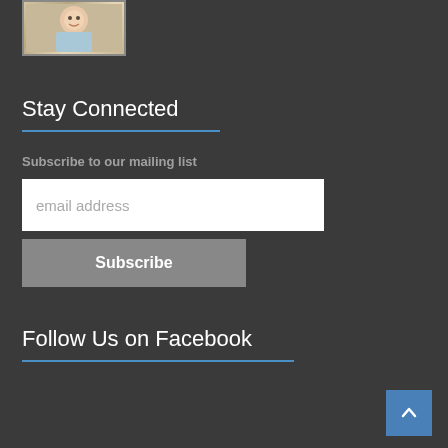[Figure (photo): Small thumbnail photo of a baby]
Stay Connected
Subscribe to our mailing list
email address
Subscribe
Follow Us on Facebook